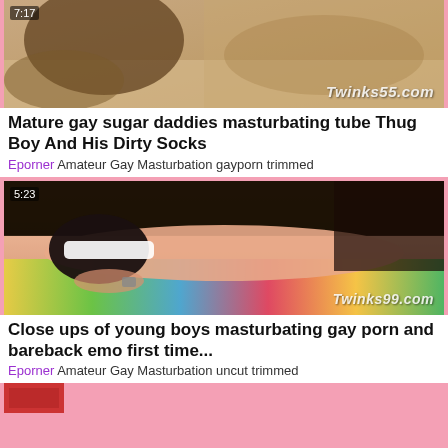[Figure (screenshot): Video thumbnail showing a bedroom scene with watermark Twinks55.com, duration 7:17]
Mature gay sugar daddies masturbating tube Thug Boy And His Dirty Socks
Eporner Amateur Gay Masturbation gayporn trimmed
[Figure (screenshot): Video thumbnail showing a young man blindfolded lying on colorful bedding with watermark Twinks99.com, duration 5:23]
Close ups of young boys masturbating gay porn and bareback emo first time...
Eporner Amateur Gay Masturbation uncut trimmed